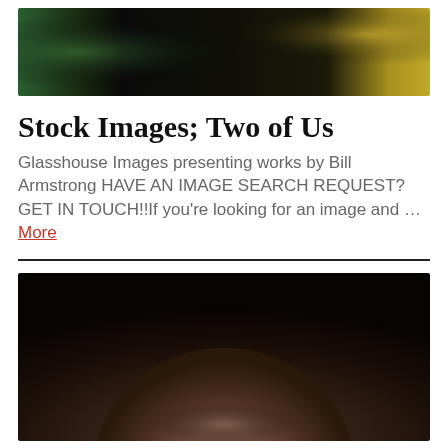[Figure (photo): Close-up blurred photo with dark center, green left side, and yellowish-gold right side tones]
Stock Images; Two of Us
Glasshouse Images presenting works by Bill Armstrong HAVE AN IMAGE SEARCH REQUEST? GET IN TOUCH!!If you’re looking for an image and … More
[Figure (photo): Top-down close-up view of the top of a person's head showing short hair and scalp, with warm brown tones and dark background]